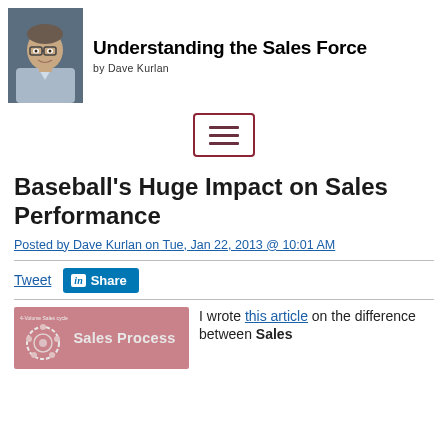[Figure (photo): Header banner with a photo of Dave Kurlan (a man with glasses in a blue shirt against a dark blue background) on the left, and bold text 'Understanding the Sales Force by Dave Kurlan' on the right.]
[Figure (other): Navigation hamburger menu button with three horizontal lines, inside a dark red/maroon rounded rectangle border.]
Baseball's Huge Impact on Sales Performance
Posted by Dave Kurlan on Tue, Jan 22, 2013 @ 10:01 AM
Tweet  Share
[Figure (infographic): A salmon/pink colored banner image showing a circular Sales Cycle diagram icon on the left and the text 'Sales Process' in white.]
I wrote this article on the difference between Sales